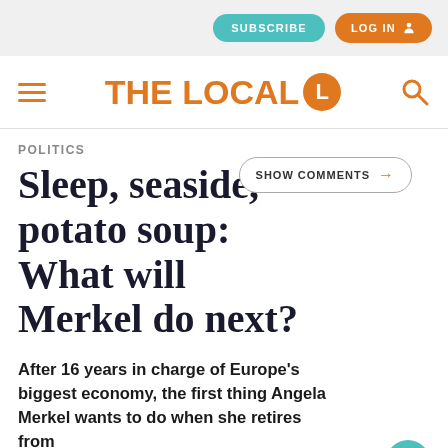THE LOCAL — SUBSCRIBE | LOG IN
POLITICS
Sleep, seaside, potato soup: What will Merkel do next?
After 16 years in charge of Europe's biggest economy, the first thing Angela Merkel wants to do when she retires from